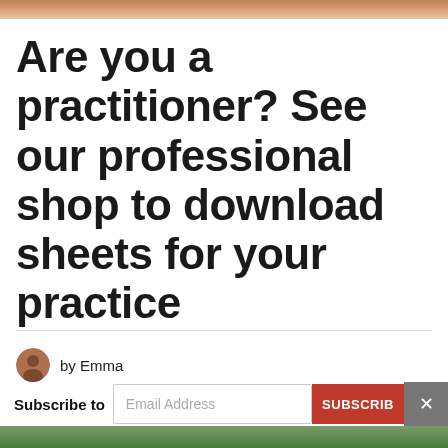[Figure (photo): Top portion of a photo, appears to show a person, cropped to a narrow strip at the top of the page]
Are you a practitioner? See our professional shop to download sheets for your practice
by Emma
Subscribe to  Email Address  SUBSCRIB
[Figure (photo): Bottom strip of another photo showing green/nature tones]